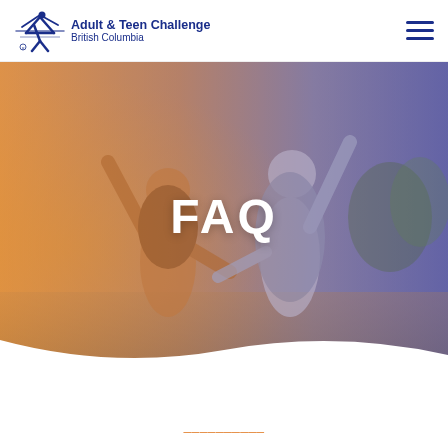[Figure (logo): Adult & Teen Challenge British Columbia logo with star figure and text]
[Figure (photo): Two women with arms raised outdoors with orange-purple tinted overlay, with FAQ text overlay]
FAQ